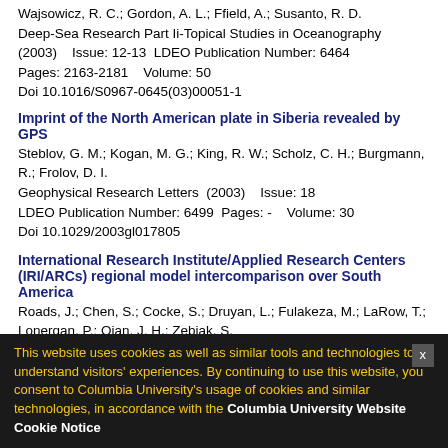Wajsowicz, R. C.; Gordon, A. L.; Ffield, A.; Susanto, R. D.
Deep-Sea Research Part Ii-Topical Studies in Oceanography (2003)    Issue: 12-13  LDEO Publication Number: 6464
Pages: 2163-2181    Volume: 50
Doi 10.1016/S0967-0645(03)00051-1
Imprint of the North American plate in Siberia revealed by GPS
Steblov, G. M.; Kogan, M. G.; King, R. W.; Scholz, C. H.; Burgmann, R.; Frolov, D. I.
Geophysical Research Letters  (2003)    Issue: 18
LDEO Publication Number: 6499  Pages: -    Volume: 30
Doi 10.1029/2003gl017805
International Research Institute/Applied Research Centers (IRI/ARCs) regional model intercomparison over South America
Roads, J.; Chen, S.; Cocke, S.; Druyan, L.; Fulakeza, M.; LaRow, T.; Lonergan, P.; Qian, J. H.; Zebiak, S.
Journal of Geophysical Research-Atmospheres  (2003)
Issue: D14  Pages: -    Volume: 108  Doi 10.1029/2002jd003201
Paleocene Early Eocene (chrons c24r-c23n)
Cramer, B. S.; Wright, J. D.; Kent, D. V.; Aubry, M. P.
Paleoceanography  (2003)    Issue: 4  Pages: -    Volume: 18
This website uses cookies as well as similar tools and technologies to understand visitors' experiences. By continuing to use this website, you consent to Columbia University's usage of cookies and similar technologies, in accordance with the Columbia University Website Cookie Notice